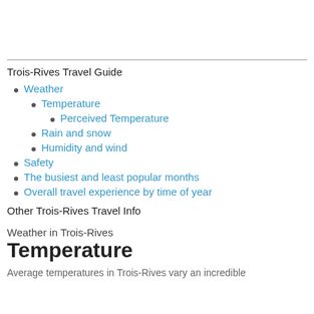Trois-Rives Travel Guide
Weather
Temperature
Perceived Temperature
Rain and snow
Humidity and wind
Safety
The busiest and least popular months
Overall travel experience by time of year
Other Trois-Rives Travel Info
Weather in Trois-Rives
Temperature
Average temperatures in Trois-Rives vary an incredible